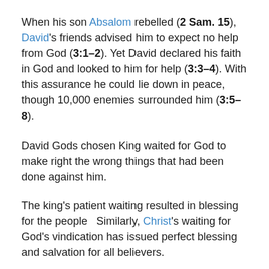When his son Absalom rebelled (2 Sam. 15), David's friends advised him to expect no help from God (3:1–2). Yet David declared his faith in God and looked to him for help (3:3–4). With this assurance he could lie down in peace, though 10,000 enemies surrounded him (3:5–8).
David Gods chosen King waited for God to make right the wrong things that had been done against him.
The king's patient waiting resulted in blessing for the people   Similarly, Christ's waiting for God's vindication has issued perfect blessing and salvation for all believers.
Conclusion: Battle...